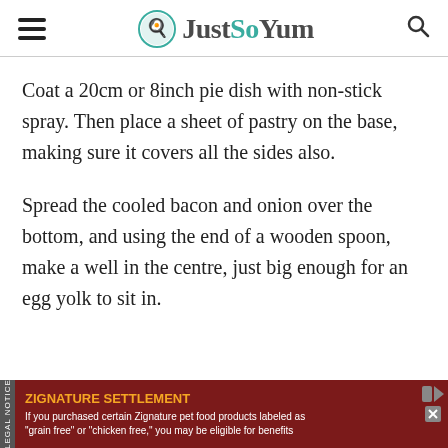JustSoYum
Coat a 20cm or 8inch pie dish with non-stick spray. Then place a sheet of pastry on the base, making sure it covers all the sides also.
Spread the cooled bacon and onion over the bottom, and using the end of a wooden spoon, make a well in the centre, just big enough for an egg yolk to sit in.
[Figure (other): Advertisement banner: ZIGNATURE SETTLEMENT - LEGAL NOTICE. Text reads: If you purchased certain Zignature pet food products labeled as "grain free" or "chicken free," you may be eligible for benefits]